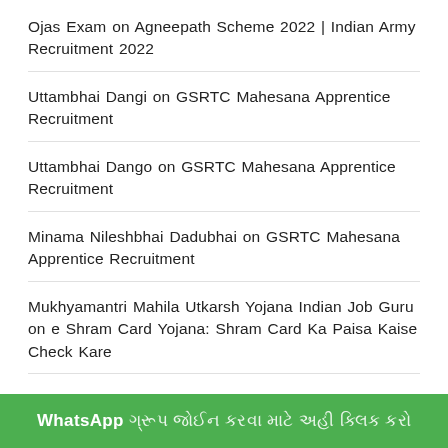Ojas Exam on Agneepath Scheme 2022 | Indian Army Recruitment 2022
Uttambhai Dangi on GSRTC Mahesana Apprentice Recruitment
Uttambhai Dango on GSRTC Mahesana Apprentice Recruitment
Minama Nileshbhai Dadubhai on GSRTC Mahesana Apprentice Recruitment
Mukhyamantri Mahila Utkarsh Yojana Indian Job Guru on e Shram Card Yojana: Shram Card Ka Paisa Kaise Check Kare
WhatsApp ગ્રૂપ જોઈન કરવા માટે અહી ક્લિક કરો